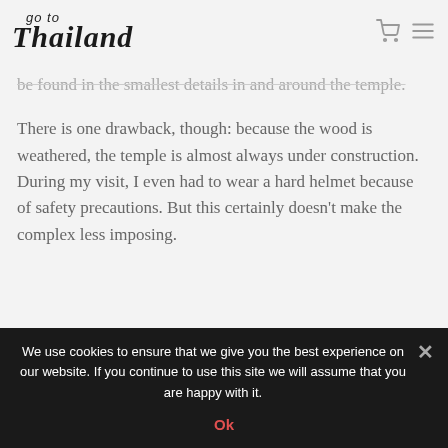go to Thailand
be found in the smallest details in and around the temple.
There is one drawback, though: because the wood is weathered, the temple is almost always under construction. During my visit, I even had to wear a hard helmet because of safety precautions. But this certainly doesn't make the complex less imposing.
We use cookies to ensure that we give you the best experience on our website. If you continue to use this site we will assume that you are happy with it. Ok